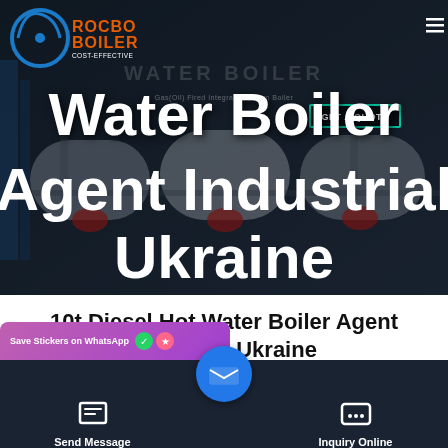[Figure (screenshot): Hero image of industrial boilers (ROCBO BOILER branded) with dark overlay, showing large cylindrical water boilers in a factory/warehouse setting. Logo and navigation visible in top area.]
Water Boiler Agent Industrial Ukraine
10t Diesel Hot Water Boiler Agent Industrial Ukraine
[Figure (screenshot): Bottom action bar with WhatsApp banner, Send Message button, central email FAB button, and Inquiry Online button on dark background.]